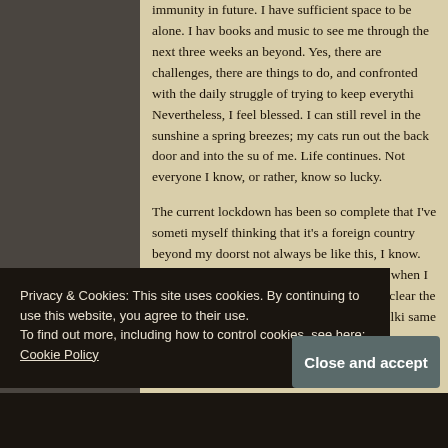immunity in future. I have sufficient space to be alone. I have books and music to see me through the next three weeks and beyond. Yes, there are challenges, there are things to do, and confronted with the daily struggle of trying to keep everything. Nevertheless, I feel blessed. I can still revel in the sunshine and spring breezes; my cats run out the back door and into the sun of me. Life continues. Not everyone I know, or rather, know so lucky.
The current lockdown has been so complete that I've sometimes myself thinking that it's a foreign country beyond my doorstep. not always be like this, I know. There is a world beyond the. Nevertheless, when I first stepped out to take my dog for a b was clear the country had changed. There were people walking same village lanes as I was, but as we approached, we each d "veer", ensuring that we were 2 metres apart when we passed.
Privacy & Cookies: This site uses cookies. By continuing to use this website, you agree to their use.
To find out more, including how to control cookies, see here: Cookie Policy
the lockdown will look like. I can imagine anything that m